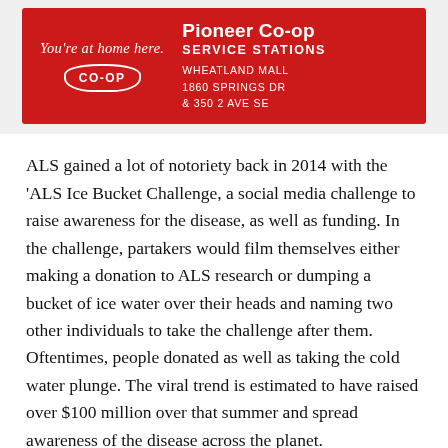[Figure (photo): Advertisement banner for Pioneer Co-op Service Stations on a red background with Co-op logo and text reading 'You're at home here.' with locations at Wheatland Mall, 1860 Springs Dr & 350 2 Ave SE]
ALS gained a lot of notoriety back in 2014 with the 'ALS Ice Bucket Challenge, a social media challenge to raise awareness for the disease, as well as funding. In the challenge, partakers would film themselves either making a donation to ALS research or dumping a bucket of ice water over their heads and naming two other individuals to take the challenge after them. Oftentimes, people donated as well as taking the cold water plunge. The viral trend is estimated to have raised over $100 million over that summer and spread awareness of the disease across the planet.
"It brought more attention to the disease," told Brown. "But there wasn't a lot of media attention about the actual facts